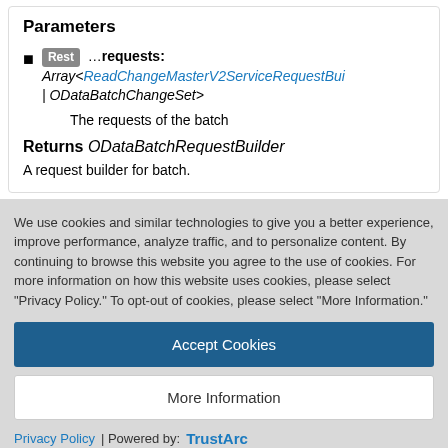Parameters
Rest ...requests: Array<ReadChangeMasterV2ServiceRequestBui | ODataBatchChangeSet> — The requests of the batch
Returns ODataBatchRequestBuilder
A request builder for batch.
We use cookies and similar technologies to give you a better experience, improve performance, analyze traffic, and to personalize content. By continuing to browse this website you agree to the use of cookies. For more information on how this website uses cookies, please select "Privacy Policy." To opt-out of cookies, please select "More Information."
Accept Cookies
More Information
Privacy Policy | Powered by: TrustArc
supported on the [[ChangeMasterV2Service]]